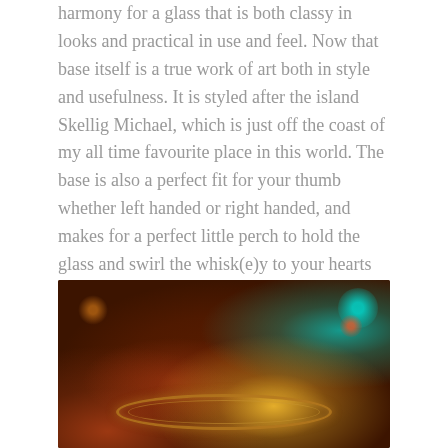harmony for a glass that is both classy in looks and practical in use and feel. Now that base itself is a true work of art both in style and usefulness. It is styled after the island Skellig Michael, which is just off the coast of my all time favourite place in this world. The base is also a perfect fit for your thumb whether left handed or right handed, and makes for a perfect little perch to hold the glass and swirl the whisk(e)y to your hearts content. Its this base that truly makes the Tuath stand out from any and all other whisk(e)y glasses. I truly love this glass and i sing its praises whenever I get the chance. And of course it works well with all types of spirits, not just Irish Whiskey.
[Figure (photo): Blurred bokeh photograph of what appears to be the rim of a whiskey glass in a bar setting, with colorful out-of-focus lights in the background including teal, red, orange, and yellow bokeh circles against a dark brown/amber background.]